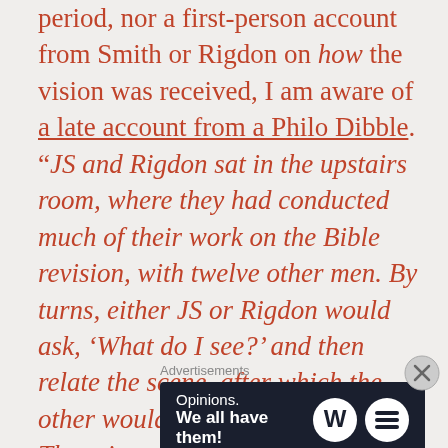period, nor a first-person account from Smith or Rigdon on how the vision was received, I am aware of a late account from a Philo Dibble. “JS and Rigdon sat in the upstairs room, where they had conducted much of their work on the Bible revision, with twelve other men. By turns, either JS or Rigdon would ask, ‘What do I see?’ and then relate the scene, after which the other would reply, ‘I see the same.’ There is no indication in Dibble’s account that anyone was
Advertisements
[Figure (other): Advertisement banner with dark navy background. Left side shows text 'Opinions. We all have them!' in white. Right side shows WordPress logo (circular W) and another circular logo.]